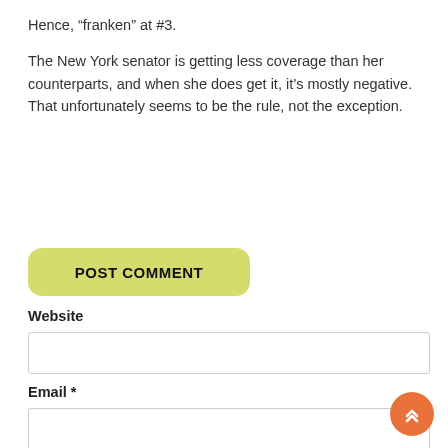Hence, “franken” at #3.
The New York senator is getting less coverage than her counterparts, and when she does get it, it’s mostly negative. That unfortunately seems to be the rule, not the exception.
POST COMMENT
Website
Email *